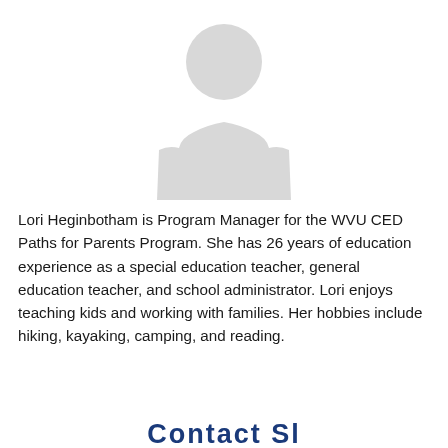[Figure (illustration): Generic placeholder profile silhouette icon — a gray person outline (head and shoulders) on a white background]
Lori Heginbotham is Program Manager for the WVU CED Paths for Parents Program. She has 26 years of education experience as a special education teacher, general education teacher, and school administrator. Lori enjoys teaching kids and working with families. Her hobbies include hiking, kayaking, camping, and reading.
Contact Info (partially visible)